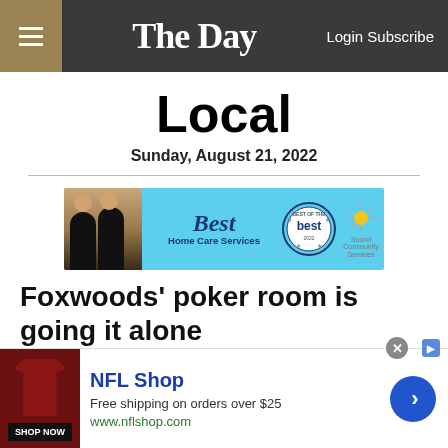The Day — Login Subscribe
Local
Sunday, August 21, 2022
[Figure (photo): Advertisement banner: Best Home Care Services — Sound Community Services, with two people in dark clothing and a Best of the Best seal]
Foxwoods' poker room is going it alone
[Figure (photo): NFL Shop advertisement — Free shipping on orders over $25, www.nflshop.com, SHOP NOW button, with a dark red shirt image and blue navigation arrow]